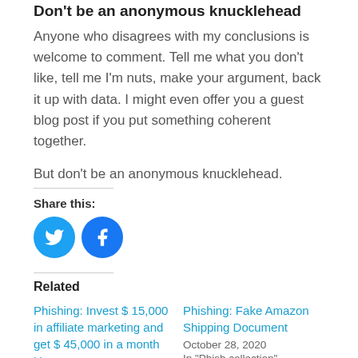Don't be an anonymous knucklehead
Anyone who disagrees with my conclusions is welcome to comment. Tell me what you don't like, tell me I'm nuts, make your argument, back it up with data. I might even offer you a guest blog post if you put something coherent together.
But don't be an anonymous knucklehead.
Share this:
[Figure (illustration): Twitter and Facebook share icon buttons (blue circles)]
Related
Phishing: Invest $ 15,000 in affiliate marketing and get $ 45,000 in a month Hey
October 28, 2020
In "Phish collection"
Phishing: Fake Amazon Shipping Document
October 28, 2020
In "Phish collection"